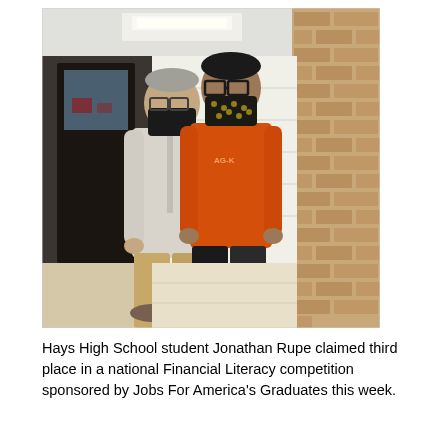[Figure (photo): Two people standing in a school hallway corridor. The person on the left wears a light gray quarter-zip pullover, khaki pants, and a dark face mask. The person on the right is taller, wears an orange t-shirt, black pants, glasses, and a patterned face mask. A brick wall is visible on the right side. The hallway background includes doors and ceiling lights.]
Hays High School student Jonathan Rupe claimed third place in a national Financial Literacy competition sponsored by Jobs For America's Graduates this week.